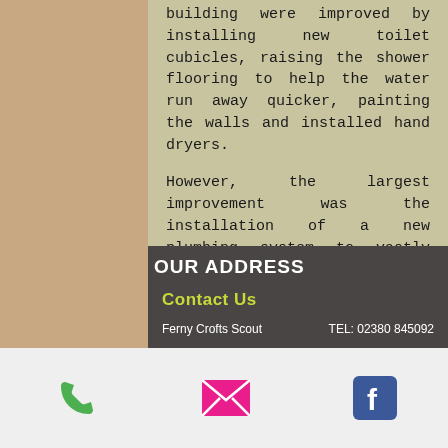building were improved by installing new toilet cubicles, raising the shower flooring to help the water run away quicker, painting the walls and installed hand dryers.
However, the largest improvement was the installation of a new plumbing system to vastly improve the water supply to site. A new water system was also installed to increase the amount of hot water available to guests on site during busy times.
Our Address
Contact Us
Ferny Crofts Scout   TEL: 02380 845092
[Figure (infographic): Three icon buttons at bottom: green phone icon, pink/red email envelope icon, blue Facebook icon]